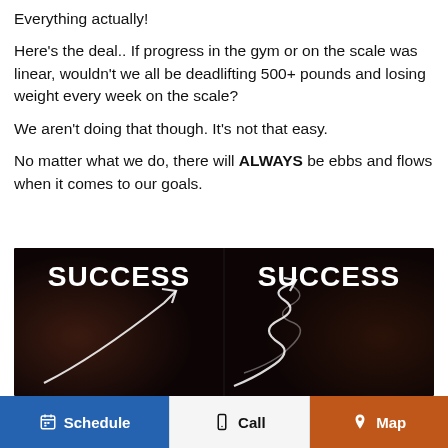Everything actually!
Here's the deal.. If progress in the gym or on the scale was linear, wouldn't we all be deadlifting 500+ pounds and losing weight every week on the scale?
We aren't doing that though. It's not that easy.
No matter what we do, there will ALWAYS be ebbs and flows when it comes to our goals.
[Figure (illustration): Dark background image with two paths to success. Left side shows a straight arrow path labeled SUCCESS. Right side shows a winding, looping path also labeled SUCCESS, illustrating that real success is not linear.]
Schedule  |  Call  |  Map